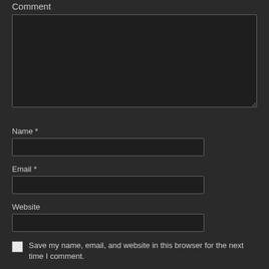Comment
Name *
Email *
Website
Save my name, email, and website in this browser for the next time I comment.